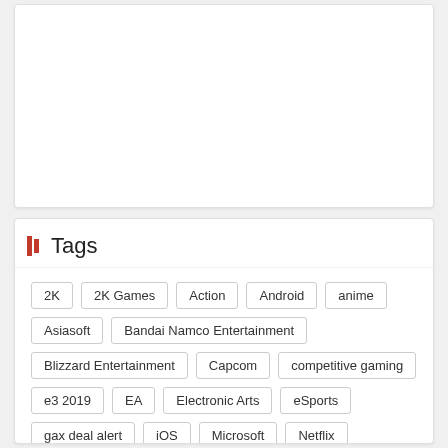[Figure (other): White card/panel area at top, blank content area]
Tags
2K
2K Games
Action
Android
anime
Asiasoft
Bandai Namco Entertainment
Blizzard Entertainment
Capcom
competitive gaming
e3 2019
EA
Electronic Arts
eSports
gax deal alert
iOS
Microsoft
Netflix
Nintendo